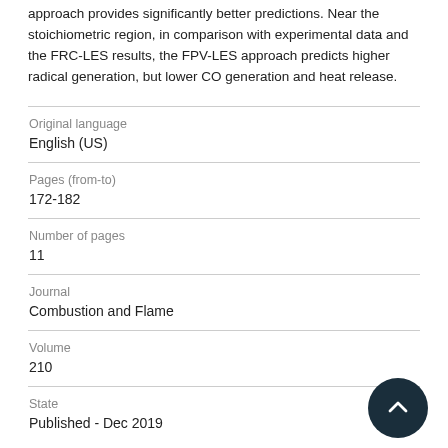approach provides significantly better predictions. Near the stoichiometric region, in comparison with experimental data and the FRC-LES results, the FPV-LES approach predicts higher radical generation, but lower CO generation and heat release.
| Original language | English (US) |
| Pages (from-to) | 172-182 |
| Number of pages | 11 |
| Journal | Combustion and Flame |
| Volume | 210 |
| State | Published - Dec 2019 |